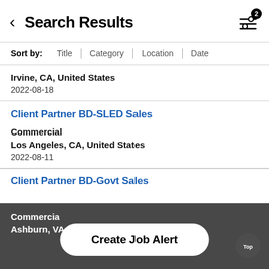Search Results
Sort by: Title | Category | Location | Date
Irvine, CA, United States
2022-08-18
Client Partner BD-SLED Sales
Commercial
Los Angeles, CA, United States
2022-08-11
Client Partner BD-Govt Sales
Commercial
Ashburn, VA
Create Job Alert